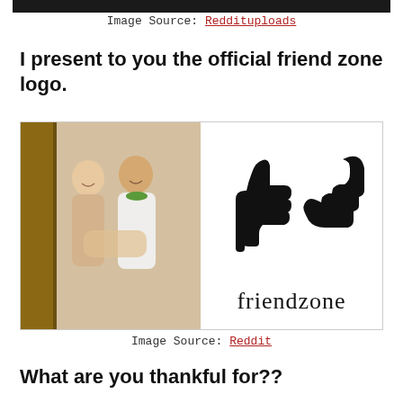[Figure (photo): Dark image strip at top of page]
Image Source: Reddituploads
I present to you the official friend zone logo.
[Figure (photo): Left: photo of a man and woman posing together making a hand gesture. Right: black silhouette logo of two hands (thumbs up + curved hand) forming a heart-like shape, with the word 'friendzone' below in serif font.]
Image Source: Reddit
What are you thankful for??